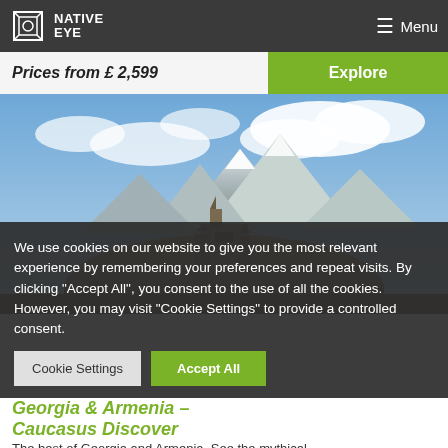NATIVE EYE | Menu
Prices from £ 2,599
Explore
[Figure (photo): A historic stone church or monastery perched on a hilltop with dramatic mountain peaks and clouds in the background — likely in Georgia or Armenia.]
We use cookies on our website to give you the most relevant experience by remembering your preferences and repeat visits. By clicking "Accept All", you consent to the use of all the cookies. However, you may visit "Cookie Settings" to provide a controlled consent.
Cookie Settings
Accept All
Georgia & Armenia – Caucasus Discoverer
The best of Georgia and Armenia. See the mythical